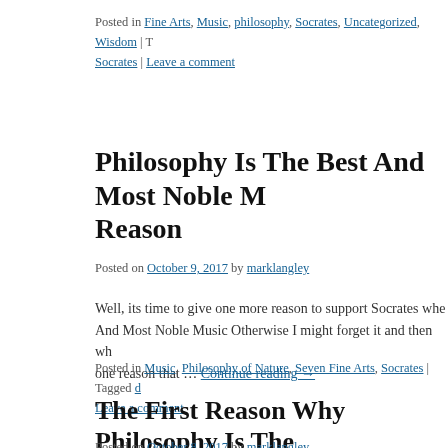Posted in Fine Arts, Music, philosophy, Socrates, Uncategorized, Wisdom | Tagged Socrates | Leave a comment
Philosophy Is The Best And Most Noble Music Reason
Posted on October 9, 2017 by marklangley
Well, its time to give one more reason to support Socrates when And Most Noble Music Otherwise I might forget it and then wh one reason that … Continue reading →
Posted in Music, Philosophy of Nature, Seven Fine Arts, Socrates | Tagged d Leave a comment
The First Reason Why Philosophy Is The Music
Posted on October 8, 2017 by marklangley